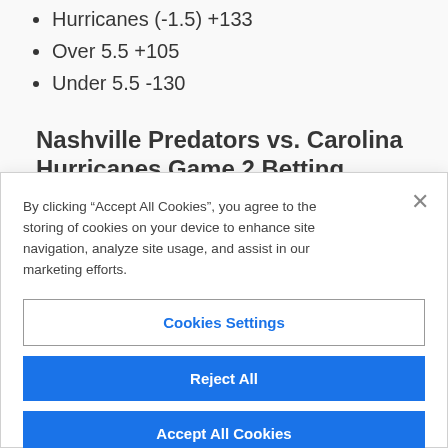Hurricanes (-1.5) +133
Over 5.5 +105
Under 5.5 -130
Nashville Predators vs. Carolina Hurricanes Game 2 Betting Analysis
By clicking “Accept All Cookies”, you agree to the storing of cookies on your device to enhance site navigation, analyze site usage, and assist in our marketing efforts.
Cookies Settings
Reject All
Accept All Cookies